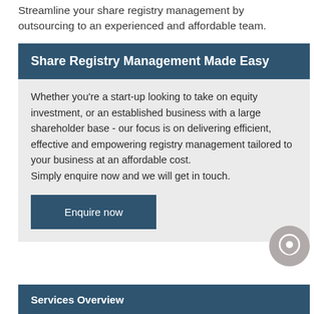Streamline your share registry management by outsourcing to an experienced and affordable team.
Share Registry Management Made Easy
Whether you’re a start-up looking to take on equity investment, or an established business with a large shareholder base - our focus is on delivering efficient, effective and empowering registry management tailored to your business at an affordable cost.
Simply enquire now and we will get in touch.
Enquire now
[Figure (illustration): Gray circular chat/enquiry icon with speech bubble symbol]
Services Overview